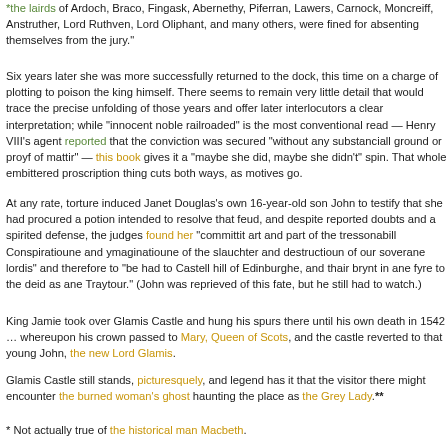*the lairds of Ardoch, Braco, Fingask, Abernethy, Piferran, Lawers, Carnock, Moncreiff, Anstruther, Lord Ruthven, Lord Oliphant, and many others, were fined for absenting themselves from the jury."
Six years later she was more successfully returned to the dock, this time on a charge of plotting to poison the king himself. There seems to remain very little detail that would trace the precise unfolding of those years and offer later interlocutors a clear interpretation; while “innocent noble railroaded” is the most conventional read — Henry VIII’s agent reported that the conviction was secured “without any substanciall ground or proyf of mattir” — this book gives it a “maybe she did, maybe she didn’t” spin. That whole embittered proscription thing cuts both ways, as motives go.
At any rate, torture induced Janet Douglas’s own 16-year-old son John to testify that she had procured a potion intended to resolve that feud, and despite reported doubts and a spirited defense, the judges found her “committit art and part of the tressonabill Conspiratioune and ymaginatioune of the slauchter and destructioun of our soverane lordis” and therefore to “be had to Castell hill of Edinburghe, and thair brynt in ane fyre to the deid as ane Traytour.” (John was reprieved of this fate, but he still had to watch.)
King Jamie took over Glamis Castle and hung his spurs there until his own death in 1542 … whereupon his crown passed to Mary, Queen of Scots, and the castle reverted to that young John, the new Lord Glamis.
Glamis Castle still stands, picturesquely, and legend has it that the visitor there might encounter the burned woman’s ghost haunting the place as the Grey Lady.**
* Not actually true of the historical man Macbeth.